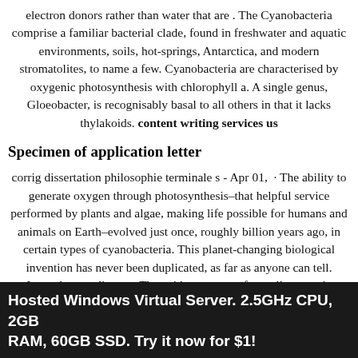electron donors rather than water that are . The Cyanobacteria comprise a familiar bacterial clade, found in freshwater and aquatic environments, soils, hot-springs, Antarctica, and modern stromatolites, to name a few. Cyanobacteria are characterised by oxygenic photosynthesis with chlorophyll a. A single genus, Gloeobacter, is recognisably basal to all others in that it lacks thylakoids. content writing services us
Specimen of application letter
corrig dissertation philosophie terminale s - Apr 01,  · The ability to generate oxygen through photosynthesis–that helpful service performed by plants and algae, making life possible for humans and animals on Earth–evolved just once, roughly billion years ago, in certain types of cyanobacteria. This planet-changing biological invention has never been duplicated, as far as anyone can tell. Instead, according to . The evidence comes from all oxygenic organisms, cyanobacteria, eukaryotic algae and embryophytic plants. However, the CEF mechanism has been difficult to investigate because of the cyclic nature of the EF and confusion with other pathways not using oxygen as a terminal electron acceptor, and the MAPS, flavodiron and chlororespiration…
Hosted Windows Virtual Server. 2.5GHz CPU, 2GB RAM, 60GB SSD. Try it now for $1!